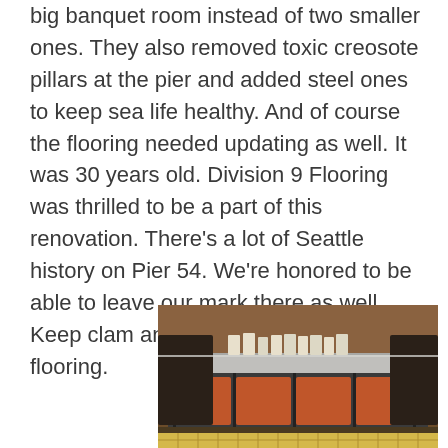big banquet room instead of two smaller ones. They also removed toxic creosote pillars at the pier and added steel ones to keep sea life healthy. And of course the flooring needed updating as well. It was 30 years old. Division 9 Flooring was thrilled to be a part of this renovation. There's a lot of Seattle history on Pier 54. We're honored to be able to leave our mark there as well. Keep clam and check out Ivar's new flooring.
[Figure (photo): Interior photo of a restaurant counter/service area with stainless steel surfaces, orange cabinet panels, and yellow patterned floor tile visible at the bottom.]